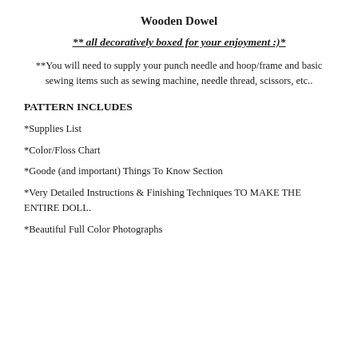Wooden Dowel
** all decoratively boxed for your enjoyment :)*
**You will need to supply your punch needle and hoop/frame and basic sewing items such as sewing machine, needle thread, scissors, etc..
PATTERN INCLUDES
*Supplies List
*Color/Floss Chart
*Goode (and important) Things To Know Section
*Very Detailed Instructions & Finishing Techniques TO MAKE THE ENTIRE DOLL.
*Beautiful Full Color Photographs